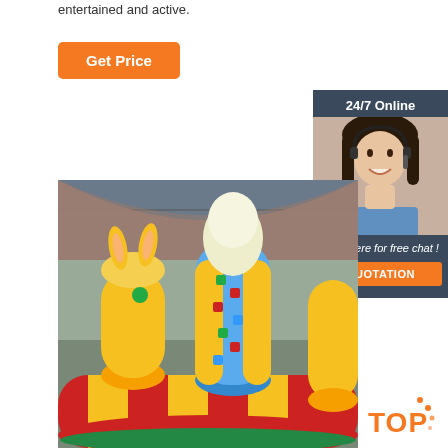entertained and active.
Get Price
[Figure (other): Customer support representative with headset, 24/7 Online chat widget with QUOTATION button]
[Figure (photo): Inflatable climbing structure with colorful hand holds inside a large warehouse/factory]
[Figure (other): TOP badge with orange dots]